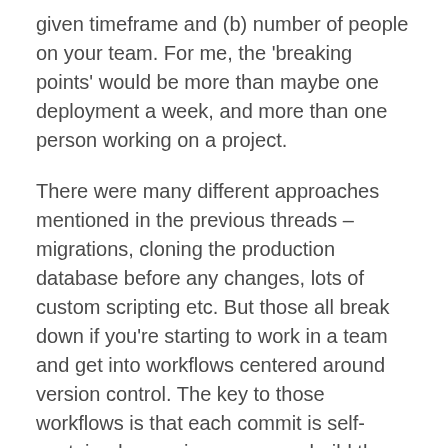given timeframe and (b) number of people on your team. For me, the 'breaking points' would be more than maybe one deployment a week, and more than one person working on a project.
There were many different approaches mentioned in the previous threads – migrations, cloning the production database before any changes, lots of custom scripting etc. But those all break down if you're starting to work in a team and get into workflows centered around version control. The key to those workflows is that each commit is self-contained, meaning you can rebuild the entire site state from it with a single command.
For comparison, here's how I work on a Craft project with my team, following a feature-branch workflow. I